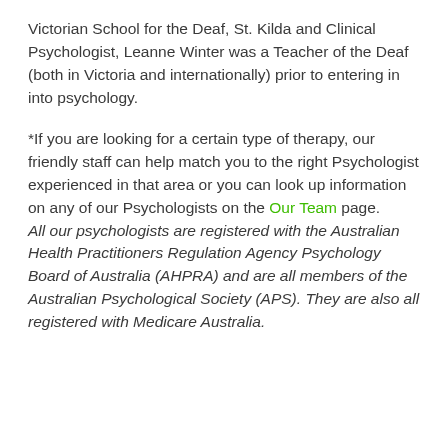Victorian School for the Deaf, St. Kilda and Clinical Psychologist, Leanne Winter was a Teacher of the Deaf (both in Victoria and internationally) prior to entering in into psychology.
*If you are looking for a certain type of therapy, our friendly staff can help match you to the right Psychologist experienced in that area or you can look up information on any of our Psychologists on the Our Team page. All our psychologists are registered with the Australian Health Practitioners Regulation Agency Psychology Board of Australia (AHPRA) and are all members of the Australian Psychological Society (APS). They are also all registered with Medicare Australia.